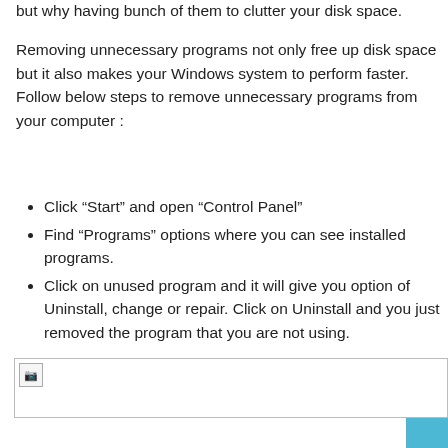but why having bunch of them to clutter your disk space.
Removing unnecessary programs not only free up disk space but it also makes your Windows system to perform faster. Follow below steps to remove unnecessary programs from your computer :
Click “Start” and open “Control Panel”
Find “Programs” options where you can see installed programs.
Click on unused program and it will give you option of Uninstall, change or repair. Click on Uninstall and you just removed the program that you are not using.
[Figure (photo): Broken image placeholder at the bottom of the page]